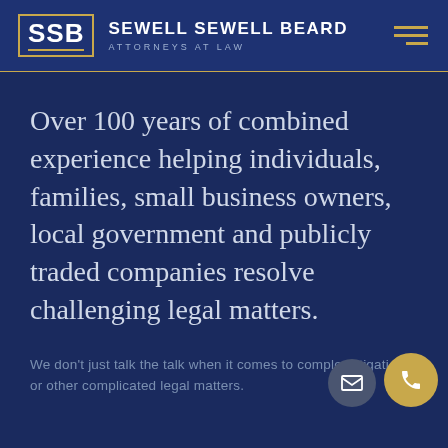SSB SEWELL SEWELL BEARD ATTORNEYS AT LAW
Over 100 years of combined experience helping individuals, families, small business owners, local government and publicly traded companies resolve challenging legal matters.
We don't just talk the talk when it comes to complex litigation or other complicated legal matters.